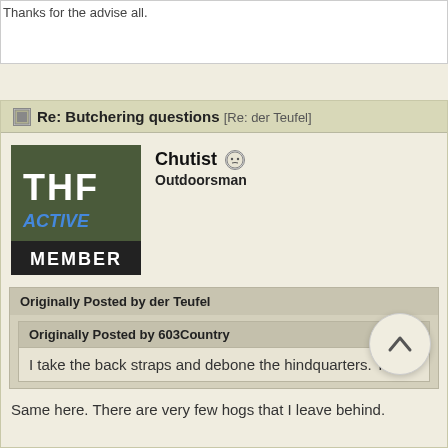Thanks for the advise all.
Re: Butchering questions [Re: der Teufel]
Chutist
Outdoorsman
[Figure (other): THF Active Member badge/avatar - dark green badge with THF text and ACTIVE MEMBER label]
Originally Posted by der Teufel
Originally Posted by 603Country
I take the back straps and debone the hindquarters. Th
Same here. There are very few hogs that I leave behind.